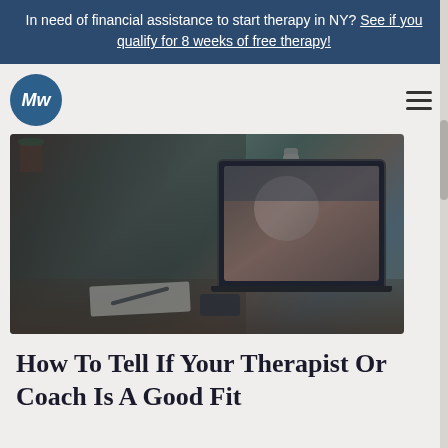In need of financial assistance to start therapy in NY? See if you qualify for 8 weeks of free therapy!
[Figure (logo): MW circular logo in dark blue]
[Figure (photo): Man sitting at a desk viewed from behind, on a video call with a woman on a laptop screen. Plants and a water bottle visible in the background.]
How To Tell If Your Therapist Or Coach Is A Good Fit